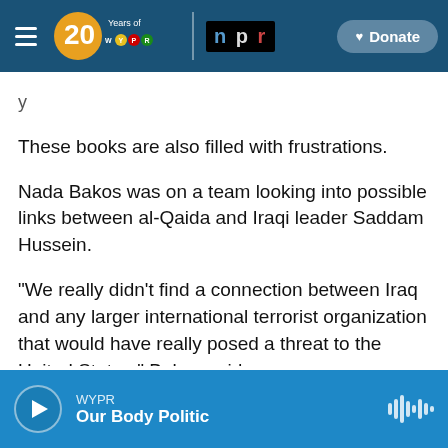[Figure (screenshot): WYPR 20 Years of WYPR logo with NPR badge and Donate button on dark teal navigation bar]
These books are also filled with frustrations.
Nada Bakos was on a team looking into possible links between al-Qaida and Iraqi leader Saddam Hussein.
"We really didn't find a connection between Iraq and any larger international terrorist organization that would have really posed a threat to the United States," Bakos said.
That was not what President George W. Bush's
[Figure (screenshot): WYPR audio player bar at bottom showing play button, station name WYPR, show name Our Body Politic, and waveform icon]